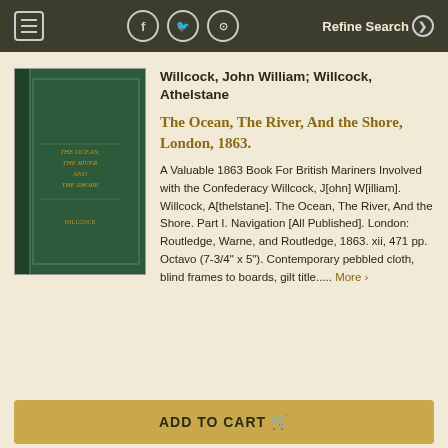Refine Search
Willcock, John William; Willcock, Athelstane
The Ocean, The River, And the Shore, London, 1863.
A Valuable 1863 Book For British Mariners Involved with the Confederacy Willcock, J[ohn] W[illiam]. Willcock, A[thelstane]. The Ocean, The River, And the Shore. Part I. Navigation [All Published]. London: Routledge, Warne, and Routledge, 1863. xii, 471 pp. Octavo (7-3/4" x 5"). Contemporary pebbled cloth, blind frames to boards, gilt title..... More >
[Figure (photo): Photo of a dark green cloth-bound book, The Ocean The River And the Shore, standing upright]
ADD TO CART
Price: $300.00